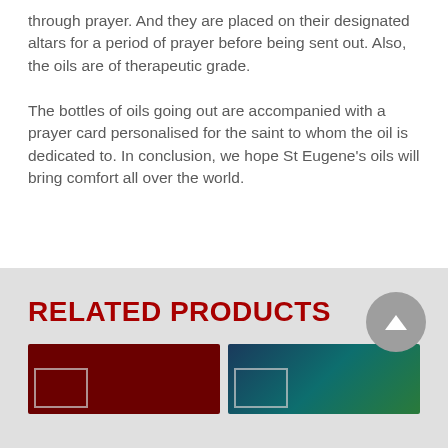through prayer.  And they are placed on their designated altars for a period of prayer before being sent out. Also, the oils are of therapeutic grade.
The bottles of oils going out are accompanied with a prayer card personalised for the saint to whom the oil is dedicated to.  In conclusion, we hope St Eugene's oils will bring comfort all over the world.
RELATED PRODUCTS
[Figure (photo): Dark red/maroon product thumbnail image with a small rectangular border outline in the lower left]
[Figure (photo): Blue-green gradient product thumbnail image with a small rectangular border outline in the lower left]